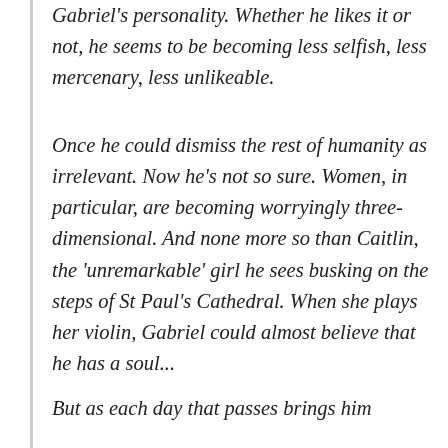Gabriel's personality. Whether he likes it or not, he seems to be becoming less selfish, less mercenary, less unlikeable.
Once he could dismiss the rest of humanity as irrelevant. Now he's not so sure. Women, in particular, are becoming worryingly three-dimensional. And none more so than Caitlin, the 'unremarkable' girl he sees busking on the steps of St Paul's Cathedral. When she plays her violin, Gabriel could almost believe that he has a soul...
But as each day that passes brings him